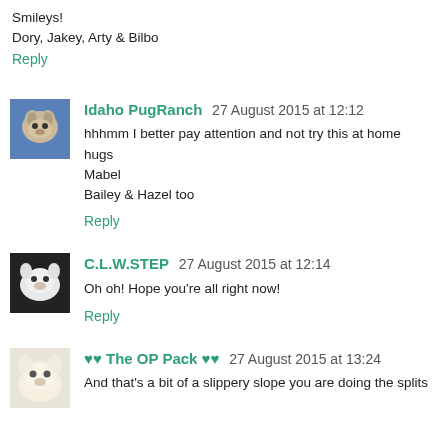Smileys!
Dory, Jakey, Arty & Bilbo
Reply
Idaho PugRanch  27 August 2015 at 12:12
hhhmm I better pay attention and not try this at home
hugs
Mabel
Bailey & Hazel too
Reply
C.L.W.STEP  27 August 2015 at 12:14
Oh oh! Hope you're all right now!
Reply
♥♥ The OP Pack ♥♥  27 August 2015 at 13:24
And that's a bit of a slippery slope you are doing the splits